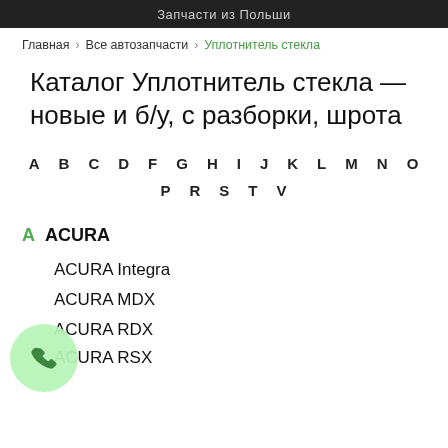Запчасти из Польши
Главная > Все автозапчасти > Уплотнитель стекла
Каталог Уплотнитель стекла — новые и б/у, с разборки, шрота
A B C D F G H I J K L M N O P R S T V
A ACURA
ACURA Integra
ACURA MDX
ACURA RDX
ACURA RSX